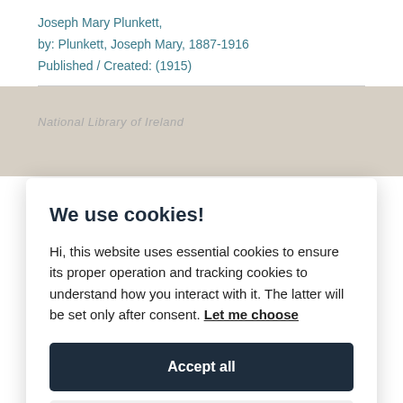Joseph Mary Plunkett,
by: Plunkett, Joseph Mary, 1887-1916
Published / Created: (1915)
National Library of Ireland
We use cookies!
Hi, this website uses essential cookies to ensure its proper operation and tracking cookies to understand how you interact with it. The latter will be set only after consent. Let me choose
Accept all
Reject all